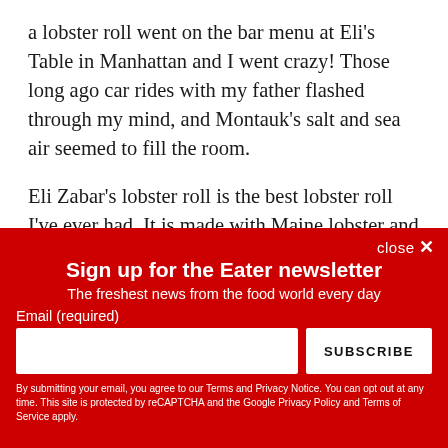a lobster roll went on the bar menu at Eli's Table in Manhattan and I went crazy! Those long ago car rides with my father flashed through my mind, and Montauk's salt and sea air seemed to fill the room.
Eli Zabar's lobster roll is the best lobster roll I've ever had. It is made with Maine lobster and served on a toasted house-made brioche roll smeared with butter. Before jumping into
Sign up for the Eater newsletter
The freshest news from the food world every day
Email (required)
By submitting your email, you agree to our Terms and Privacy Notice. You can opt out at any time. This site is protected by reCAPTCHA and the Google Privacy Policy and Terms of Service apply.